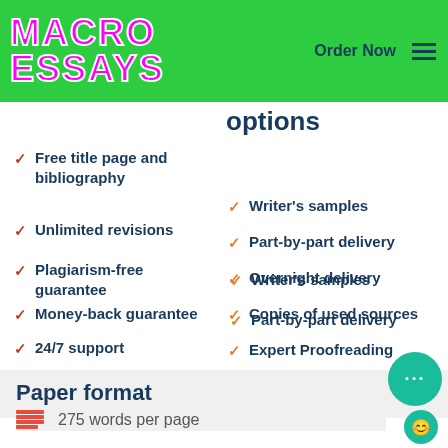[Figure (logo): MacroEssays logo in magenta with white outline on green background]
Order Now
options
Free title page and bibliography
Unlimited revisions
Plagiarism-free guarantee
Money-back guarantee
24/7 support
Writer's samples
Part-by-part delivery
Overnight delivery
Copies of used sources
Expert Proofreading
Paper format
275 words per page